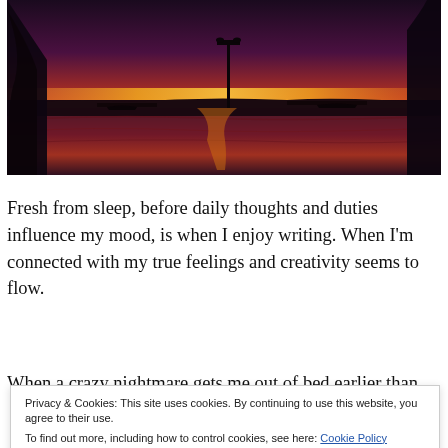[Figure (photo): A dramatic sunset over a harbor/marina with dark silhouetted trees and a light pole in the foreground, vivid orange and purple sky reflected in the water, boats and docks visible.]
Fresh from sleep, before daily thoughts and duties influence my mood, is when I enjoy writing. When I'm connected with my true feelings and creativity seems to flow.
When a crazy nightmare gets me out of bed earlier than
Privacy & Cookies: This site uses cookies. By continuing to use this website, you agree to their use.
To find out more, including how to control cookies, see here: Cookie Policy
Close and accept